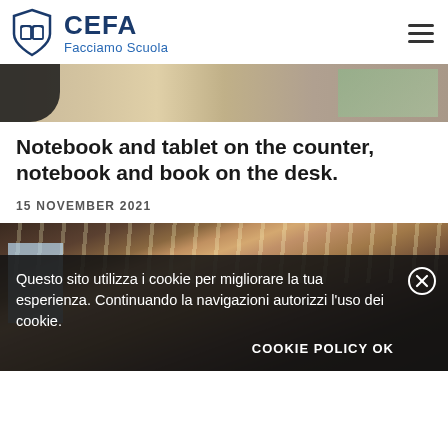CEFA Facciamo Scuola
[Figure (photo): Top strip photo showing students at desks with colorful maps or materials on the right side]
Notebook and tablet on the counter, notebook and book on the desk.
15 NOVEMBER 2021
[Figure (photo): Interior of a large auditorium or lecture hall with wooden ceiling panels and bright ceiling lights radiating outward, audience visible in lower portion]
Questo sito utilizza i cookie per migliorare la tua esperienza. Continuando la navigazioni autorizzi l'uso dei cookie.
COOKIE POLICY OK